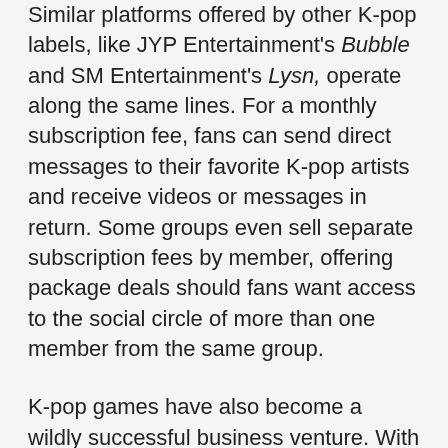Similar platforms offered by other K-pop labels, like JYP Entertainment's Bubble and SM Entertainment's Lysn, operate along the same lines. For a monthly subscription fee, fans can send direct messages to their favorite K-pop artists and receive videos or messages in return. Some groups even sell separate subscription fees by member, offering package deals should fans want access to the social circle of more than one member from the same group.
K-pop games have also become a wildly successful business venture. With an emphasis on rhythm games featuring label-specific artists and music, apps like SuperStar SMTown, SuperStar JYPNation, Rhythm Hive, and BTS World have garnered substantial international attention. In addition, drawing fans into the habit of spending their free time playing K-pop games creates an environment for seamless product